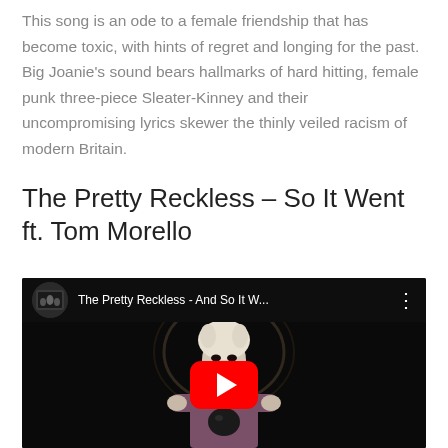This song is an ode to a female friendship that has become toxic, with hints of regret and longing for the past. Big Joanie's sound bears hallmarks of hard hitting, female punk three-piece Sleater-Kinney and their uncompromising lyrics skewer the thinly veiled racism of modern Britain.
The Pretty Reckless – So It Went ft. Tom Morello
[Figure (screenshot): YouTube video embed showing The Pretty Reckless - And So It W... video thumbnail with a performer in pale makeup and purple jacket, with the YouTube play button overlay and video title bar at top.]